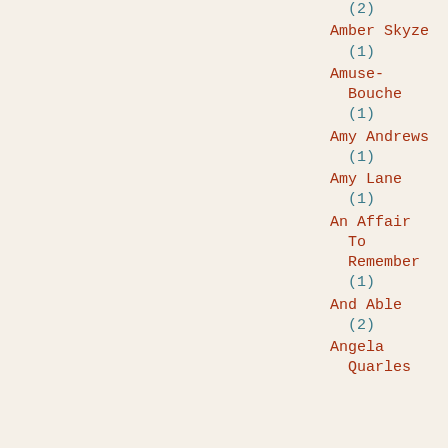(2)
Amber Skyze
(1)
Amuse-Bouche
(1)
Amy Andrews
(1)
Amy Lane
(1)
An Affair To Remember
(1)
And Able
(2)
Angela Quarles